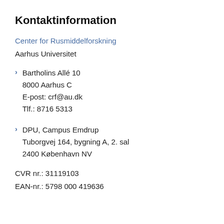Kontaktinformation
Center for Rusmiddelforskning
Aarhus Universitet
Bartholins Allé 10
8000 Aarhus C
E-post: crf@au.dk
Tlf.: 8716 5313
DPU, Campus Emdrup
Tuborgvej 164, bygning A, 2. sal
2400 København NV
CVR nr.: 31119103
EAN-nr.: 5798 000 419636